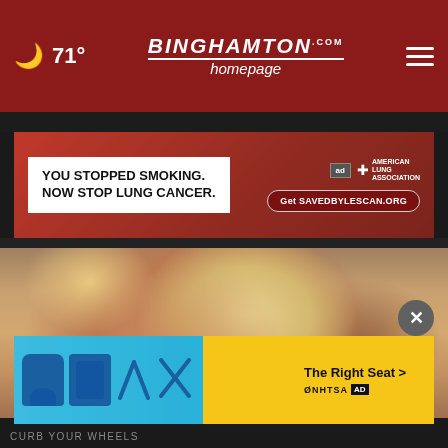🌙 71° | Binghamton Homepage.com
[Figure (screenshot): Advertisement banner: YOU STOPPED SMOKING. NOW STOP LUNG CANCER. — American Lung Association, Get SAVEDBYLESCAN.ORG]
[Figure (photo): Close-up photo of a blonde woman looking upward, hand raised near her hair]
[Figure (screenshot): NHTSA advertisement: The Right Seat > with car seat icons on blue and yellow background]
CURB YOUR WHEELS